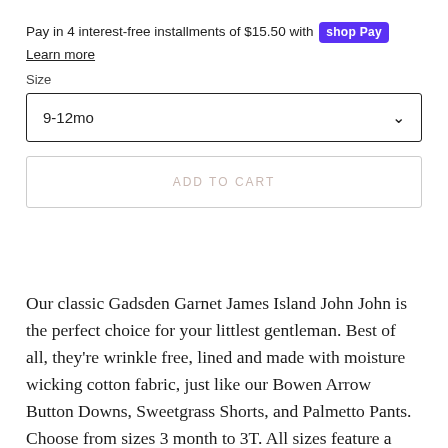Pay in 4 interest-free installments of $15.50 with Shop Pay
Learn more
Size
9-12mo
ADD TO CART
Our classic Gadsden Garnet James Island John John is the perfect choice for your littlest gentleman. Best of all, they're wrinkle free, lined and made with moisture wicking cotton fabric, just like our Bowen Arrow Button Downs, Sweetgrass Shorts, and Palmetto Pants. Choose from sizes 3 month to 3T. All sizes feature a snap